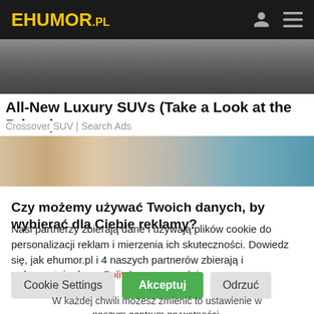EHUMOR.PL
[Figure (photo): Dark colored car image, close-up partial view from above]
All-New Luxury SUVs (Take a Look at the Prices)
Crossover SUV | Search Ads
[Figure (photo): Close-up of a person's face, woman with blonde hair, wearing blue glove]
Czy możemy używać Twoich danych, by wybierać dla Ciebie reklamy?
Nasi partnerzy zbierają dane i używają plików cookie do personalizacji reklam i mierzenia ich skuteczności. Dowiedz się, jak ehumor.pl i 4 naszych partnerów zbierają i wykorzystują dane. Polityka prywatności
Cookie Settings   Akceptuj   Odrzuć
W każdej chwili możesz zmienić to ustawienie w naszym centrum prywatności.